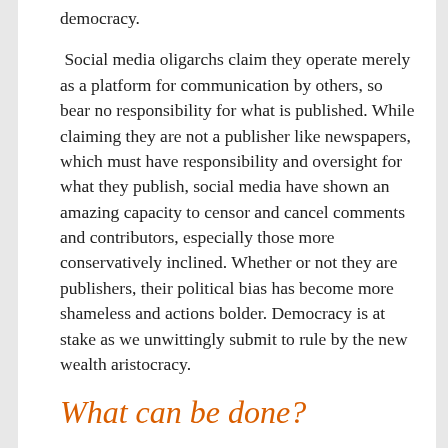democracy.
Social media oligarchs claim they operate merely as a platform for communication by others, so bear no responsibility for what is published. While claiming they are not a publisher like newspapers, which must have responsibility and oversight for what they publish, social media have shown an amazing capacity to censor and cancel comments and contributors, especially those more conservatively inclined. Whether or not they are publishers, their political bias has become more shameless and actions bolder. Democracy is at stake as we unwittingly submit to rule by the new wealth aristocracy.
What can be done?